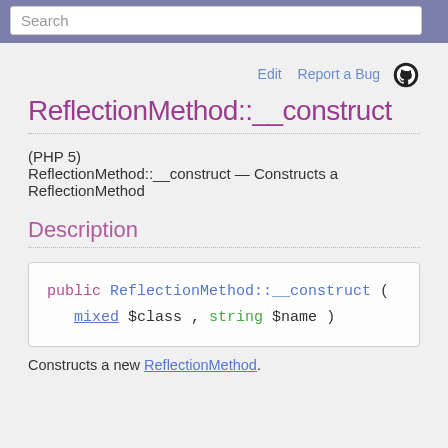Search
ReflectionMethod::__construct
(PHP 5)
ReflectionMethod::__construct — Constructs a ReflectionMethod
Description
Constructs a new ReflectionMethod.